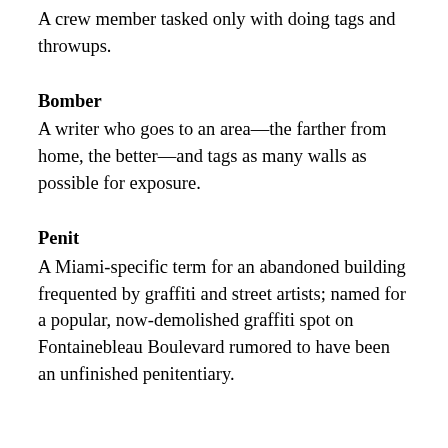A crew member tasked only with doing tags and throwups.
Bomber
A writer who goes to an area—the farther from home, the better—and tags as many walls as possible for exposure.
Penit
A Miami-specific term for an abandoned building frequented by graffiti and street artists; named for a popular, now-demolished graffiti spot on Fontainebleau Boulevard rumored to have been an unfinished penitentiary.